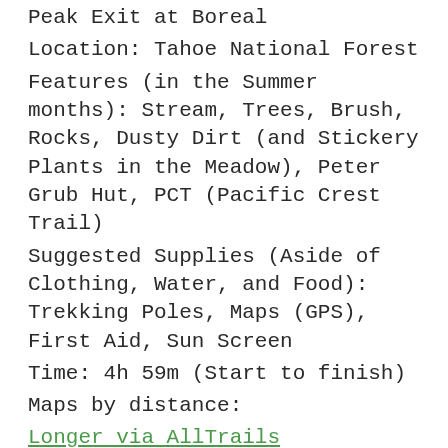Peak Exit at Boreal
Location: Tahoe National Forest
Features (in the Summer months): Stream, Trees, Brush, Rocks, Dusty Dirt (and Stickery Plants in the Meadow), Peter Grub Hut, PCT (Pacific Crest Trail)
Suggested Supplies (Aside of Clothing, Water, and Food): Trekking Poles, Maps (GPS), First Aid, Sun Screen
Time: 4h 59m (Start to finish)
Maps by distance:
Longer via AllTrails
Shorter via AllTrails
Quick notes: Below is the screenshot of my